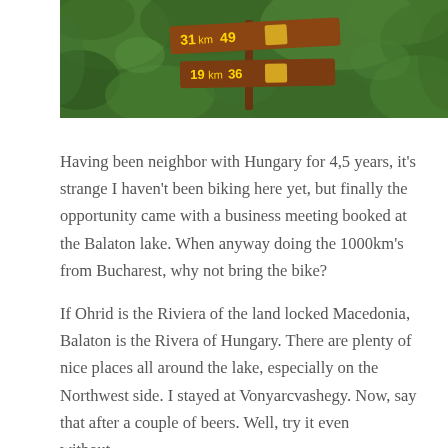[Figure (photo): Photo of wooden directional signposts with distance markers (31km 49, 19km 36) surrounded by green foliage/leaves in the background]
Having been neighbor with Hungary for 4,5 years, it's strange I haven't been biking here yet, but finally the opportunity came with a business meeting booked at the Balaton lake. When anyway doing the 1000km's from Bucharest, why not bring the bike?
If Ohrid is the Riviera of the land locked Macedonia, Balaton is the Rivera of Hungary. There are plenty of nice places all around the lake, especially on the Northwest side. I stayed at Vonyarcvashegy. Now, say that after a couple of beers. Well, try it even without…